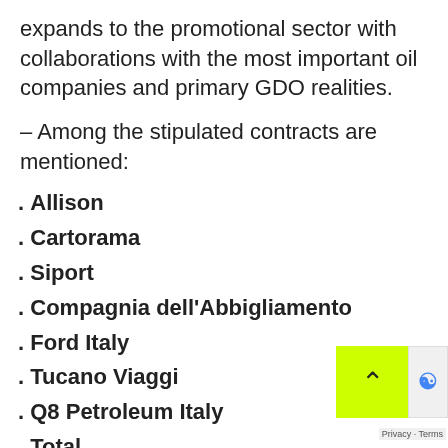expands to the promotional sector with collaborations with the most important oil companies and primary GDO realities.
– Among the stipulated contracts are mentioned:
. Allison
. Cartorama
. Siport
. Compagnia dell'Abbigliamento
. Ford Italy
. Tucano Viaggi
. Q8 Petroleum Italy
. Total
. IPT